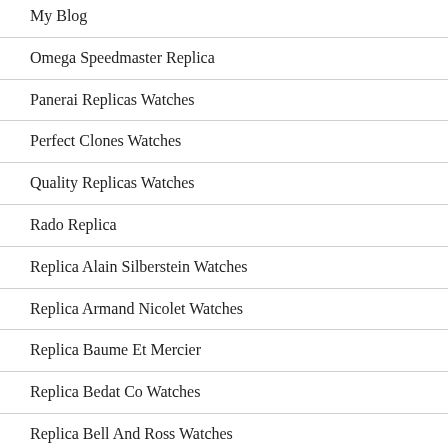My Blog
Omega Speedmaster Replica
Panerai Replicas Watches
Perfect Clones Watches
Quality Replicas Watches
Rado Replica
Replica Alain Silberstein Watches
Replica Armand Nicolet Watches
Replica Baume Et Mercier
Replica Bedat Co Watches
Replica Bell And Ross Watches